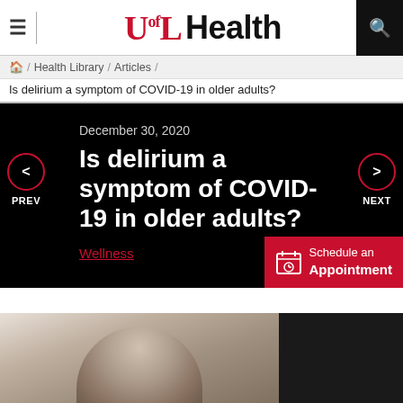UofL Health
Home / Health Library / Articles / Is delirium a symptom of COVID-19 in older adults?
December 30, 2020
Is delirium a symptom of COVID-19 in older adults?
Wellness
[Figure (photo): Photo of elderly person with grey/white hair, blurred background, viewed from behind/side]